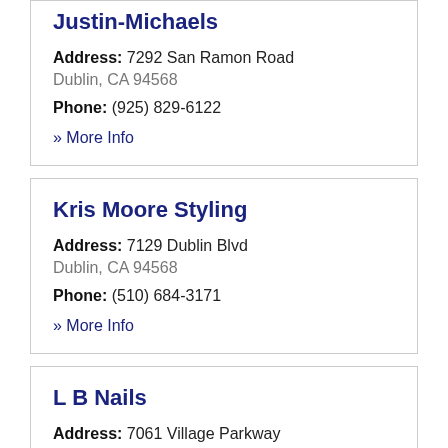Justin-Michaels
Address: 7292 San Ramon Road
Dublin, CA 94568
Phone: (925) 829-6122
» More Info
Kris Moore Styling
Address: 7129 Dublin Blvd
Dublin, CA 94568
Phone: (510) 684-3171
» More Info
L B Nails
Address: 7061 Village Parkway